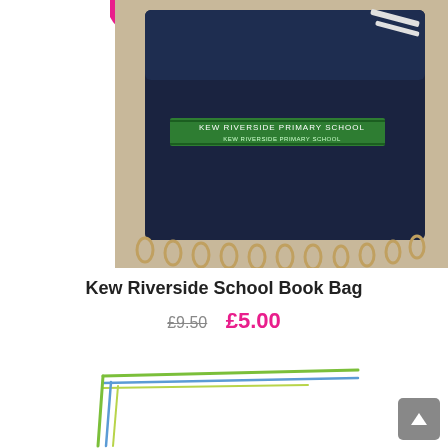[Figure (photo): Photo of a navy blue Kew Riverside Primary School book bag with green stripe logo, shown against a light background with ring binder coils visible at bottom.]
Kew Riverside School Book Bag
£9.50  £5.00
[Figure (illustration): Partial view of a second product with a colourful sketched border illustration (green, blue, yellow lines forming a corner frame).]